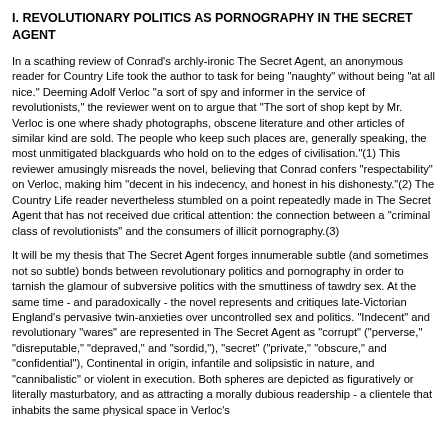I. REVOLUTIONARY POLITICS AS PORNOGRAPHY IN THE SECRET AGENT
In a scathing review of Conrad's archly-ironic The Secret Agent, an anonymous reader for Country Life took the author to task for being "naughty" without being "at all nice." Deeming Adolf Verloc "a sort of spy and informer in the service of revolutionists," the reviewer went on to argue that "The sort of shop kept by Mr. Verloc is one where shady photographs, obscene literature and other articles of similar kind are sold. The people who keep such places are, generally speaking, the most unmitigated blackguards who hold on to the edges of civilisation."(1) This reviewer amusingly misreads the novel, believing that Conrad confers "respectability" on Verloc, making him "decent in his indecency, and honest in his dishonesty."(2) The Country Life reader nevertheless stumbled on a point repeatedly made in The Secret Agent that has not received due critical attention: the connection between a "criminal class of revolutionists" and the consumers of illicit pornography.(3)
It will be my thesis that The Secret Agent forges innumerable subtle (and sometimes not so subtle) bonds between revolutionary politics and pornography in order to tarnish the glamour of subversive politics with the smuttiness of tawdry sex. At the same time - and paradoxically - the novel represents and critiques late-Victorian England's pervasive twin-anxieties over uncontrolled sex and politics. "Indecent" and revolutionary "wares" are represented in The Secret Agent as "corrupt" ("perverse," "disreputable," "depraved," and "sordid,"), "secret" ("private," "obscure," and "confidential"), Continental in origin, infantile and solipsistic in nature, and "cannibalistic" or violent in execution. Both spheres are depicted as figuratively or literally masturbatory, and as attracting a morally dubious readership - a clientele that inhabits the same physical space in Verloc's